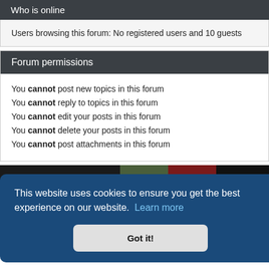Who is online
Users browsing this forum: No registered users and 10 guests
Forum permissions
You cannot post new topics in this forum
You cannot reply to topics in this forum
You cannot edit your posts in this forum
You cannot delete your posts in this forum
You cannot post attachments in this forum
[Figure (photo): Banner showing t-shirts with 'Click here to order your' text on yellow background]
This website uses cookies to ensure you get the best experience on our website. Learn more
Got it!